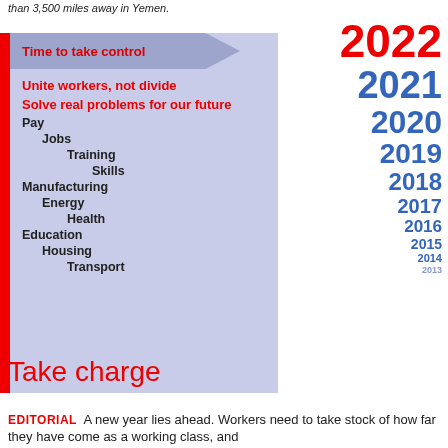than 3,500 miles away in Yemen.
[Figure (infographic): An infographic titled 'Time to take control' showing a stacked list of labor topics (Unite workers not divide, Solve real problems for our future, Pay, Jobs, Training, Skills, Manufacturing, Energy, Health, Education, Housing, Transport) on a purple/blue background with a red left bar, alongside large year numbers from 2022 down to 2013 decreasing in size.]
Take charge
EDITORIAL  A new year lies ahead. Workers need to take stock of how far they have come as a working class, and